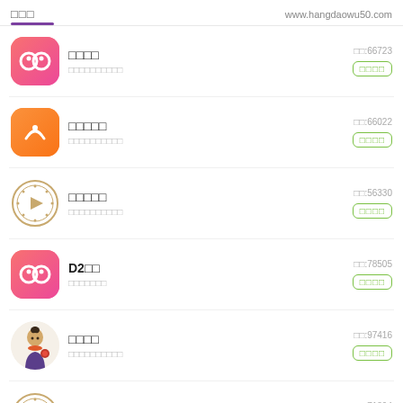□□□  www.hangdaowu50.com
□□□□  □□:66723  □□□□□□□□□□
□□□□□  □□:66022  □□□□□□□□□□
□□□□□  □□:56330  □□□□□□□□□□
D2□□  □□:78505  □□□□□□□
□□□□  □□:97416  □□□□□□□□□□
Jav□□  □□:71394  □□□□□□□□□□□□□